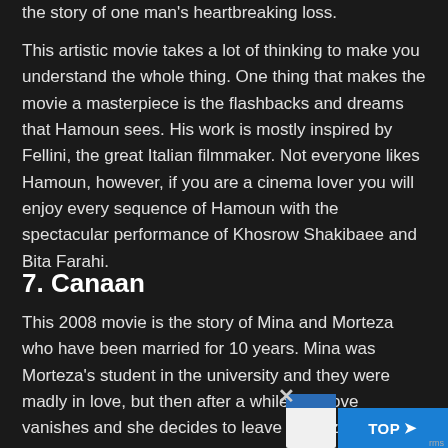the story of one man's heartbreaking loss.
This artistic movie takes a lot of thinking to make you understand the whole thing. One thing that makes the movie a masterpiece is the flashbacks and dreams that Hamoun sees. His work is mostly inspired by Fellini, the great Italian filmmaker. Not everyone likes Hamoun, however, if you are a cinema lover you will enjoy every sequence of Hamoun with the spectacular performance of Khosrow Shakibaee and Bita Farahi.
7. Canaan
This 2008 movie is the story of Mina and Morteza who have been married for 10 years. Mina was Morteza's student in the university and they were madly in love, but then after a while, her love vanishes and she decides to leave Morteza and immigrate to Canada to study. However, everything changes when Mina's older sister shows up.